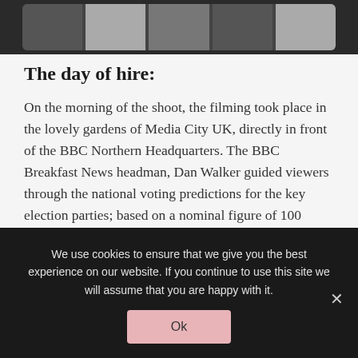[Figure (photo): Strip of multiple photos shown at top of page on dark background, showing outdoor scenes related to a filming shoot.]
The day of hire:
On the morning of the shoot, the filming took place in the lovely gardens of Media City UK, directly in front of the BBC Northern Headquarters. The BBC Breakfast News headman, Dan Walker guided viewers through the national voting predictions for the key election parties; based on a nominal figure of 100 voters. Words To Glow’s large number 100 provided the perfect visual prop for the illustration and filming
We use cookies to ensure that we give you the best experience on our website. If you continue to use this site we will assume that you are happy with it.